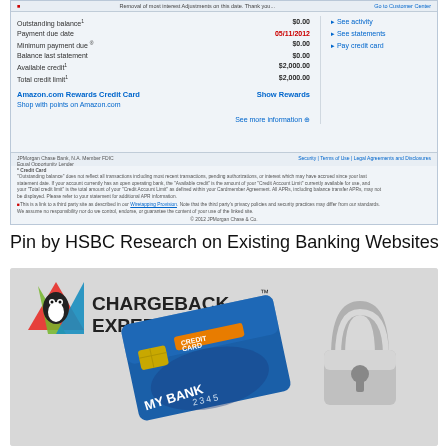[Figure (screenshot): Screenshot of JPMorgan Chase online banking page showing Amazon.com Rewards Credit Card account summary with outstanding balance $0.00, payment due date 05/11/2012, minimum payment due $0.00, balance last statement $0.00, available credit $2,000.00, total credit limit $2,000.00, with links to See activity, See statements, Pay credit card, Show Rewards, and more information]
Pin by HSBC Research on Existing Banking Websites
[Figure (photo): Chargeback Expertz logo with colorful triangular icon and company name, alongside a blue credit card labeled MY BANK with credit card text and a padlock, on grey background]